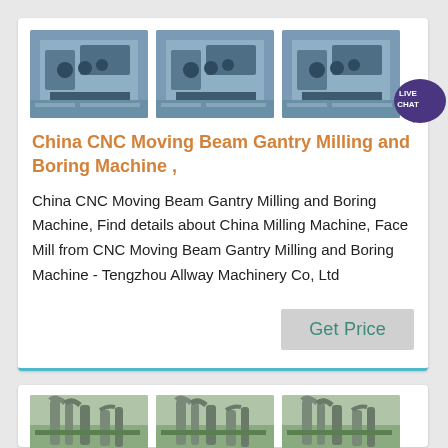[Figure (photo): Three aerial/top-down photos of CNC milling and boring machine equipment]
China CNC Moving Beam Gantry Milling and Boring Machine ,
China CNC Moving Beam Gantry Milling and Boring Machine, Find details about China Milling Machine, Face Mill from CNC Moving Beam Gantry Milling and Boring Machine - Tengzhou Allway Machinery Co, Ltd
[Figure (photo): Three photos of industrial pipe/dust collection equipment at a factory]